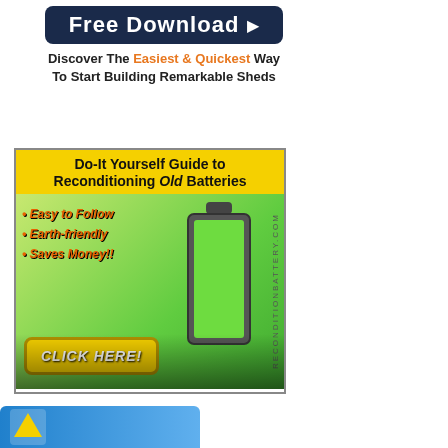[Figure (infographic): Top ad: Free Download banner for shed building guide. Shows a 3D book cover with a shed image and a person, alongside text 'Free Download' in large font on dark blue button, and text 'Discover The Easiest & Quickest Way To Start Building Remarkable Sheds' where 'Easiest & Quickest' is in orange.]
[Figure (infographic): Middle ad: 'Do-It Yourself Guide to Reconditioning Old Batteries' on yellow background header. Below: green gradient background with battery icon (green fill), bullet points 'Easy to Follow', 'Earth-friendly', 'Saves Money!!' in orange italic bold. Bottom left has a yellow 'CLICK HERE!' button. Right side has vertical text 'RECONDITIONBATTERY.COM'. Photo of car batteries in background.]
[Figure (infographic): Bottom partial ad: partially visible blue banner/ad at bottom of page, showing only the top portion.]